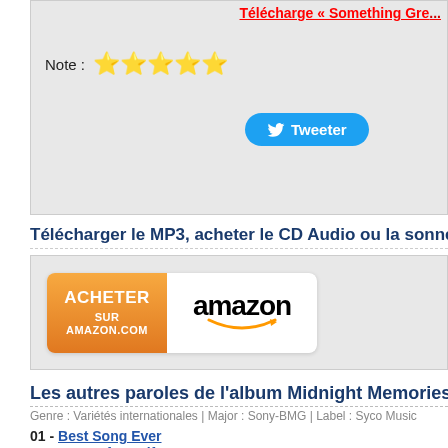Télécharge « Something Gre...
Note : ★★★★★
[Figure (screenshot): Twitter Tweeter button, blue rounded rectangle with bird icon]
Télécharger le MP3, acheter le CD Audio ou la sonnerie de So...
[Figure (logo): Amazon buy button: orange 'ACHETER SUR AMAZON.COM' button next to Amazon logo on white background]
Les autres paroles de l'album Midnight Memories
Genre : Variétés internationales | Major : Sony-BMG | Label : Syco Music
01 - Best Song Ever
02 - Story of My Life
03 - Diana
04 - Midnight Memories
05 - You and I
06 - Don't Forget Where You Belong
07 - Strong